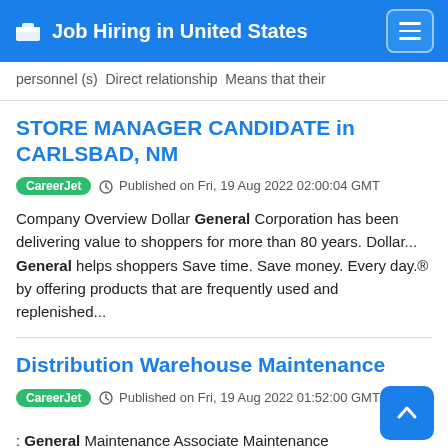Job Hiring in United States
personnel (s) Direct relationship Means that their
STORE MANAGER CANDIDATE in CARLSBAD, NM
CareerJet  Published on Fri, 19 Aug 2022 02:00:04 GMT
Company Overview Dollar General Corporation has been delivering value to shoppers for more than 80 years. Dollar... General helps shoppers Save time. Save money. Every day.® by offering products that are frequently used and replenished...
Distribution Warehouse Maintenance
CareerJet  Published on Fri, 19 Aug 2022 01:52:00 GMT
: General Maintenance Associate Maintenance Technician Multi Skilled Technician A general